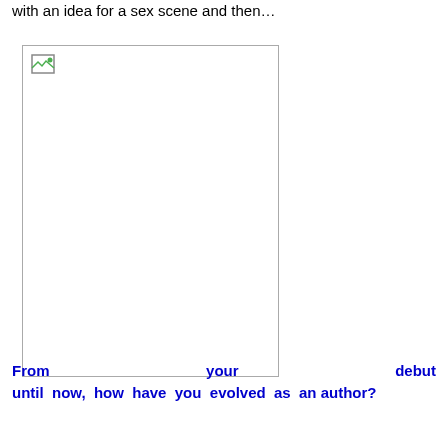with an idea for a sex scene and then…
[Figure (photo): A broken/missing image placeholder shown as a bordered rectangle with a small broken-image icon in the top-left corner.]
From your debut until now, how have you evolved as an author?